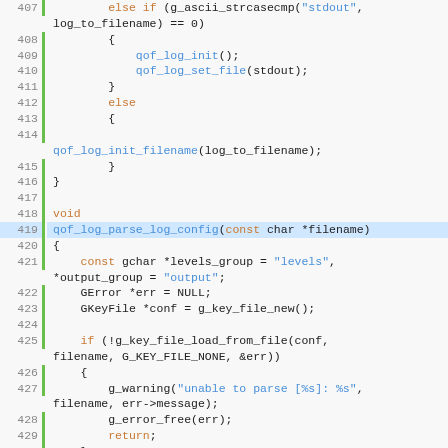[Figure (screenshot): Source code listing in C showing lines 407-433, displaying qof_log functions including qof_log_init, qof_log_set_file, qof_log_init_filename, qof_log_parse_log_config, and associated logic with keywords, function names, and string literals highlighted in different colors.]